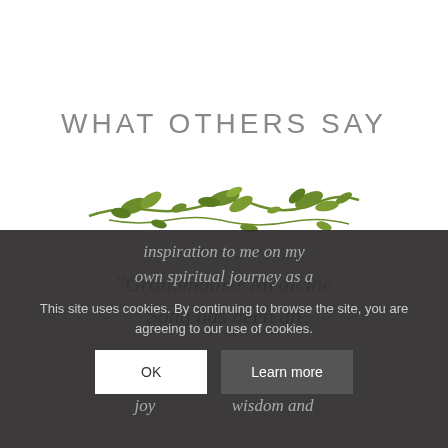WHAT OTHERS SAY
[Figure (illustration): Green botanical vine/branch decorative divider illustration]
"Grandmother Medicine Song has been an inspiration to me on my own spiritual journey as a ... joyfulness, wisdom and clarity have helped me to ...
This site uses cookies. By continuing to browse the site, you are agreeing to our use of cookies.
OK
Learn more